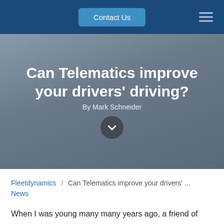Contact Us
Can Telematics improve your drivers' driving?
By Mark Schneider
Fleetdynamics News / Can Telematics improve your drivers' ...
When I was young many many years ago, a friend of